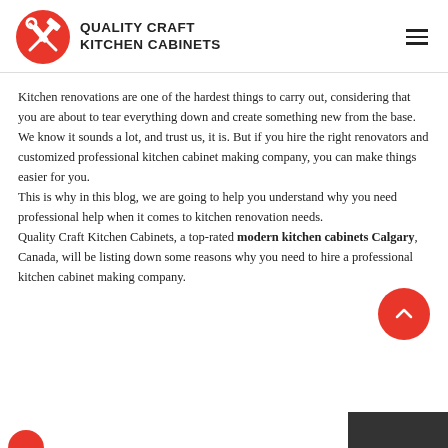QUALITY CRAFT KITCHEN CABINETS
Kitchen renovations are one of the hardest things to carry out, considering that you are about to tear everything down and create something new from the base. We know it sounds a lot, and trust us, it is. But if you hire the right renovators and customized professional kitchen cabinet making company, you can make things easier for you.
This is why in this blog, we are going to help you understand why you need professional help when it comes to kitchen renovation needs.
Quality Craft Kitchen Cabinets, a top-rated modern kitchen cabinets Calgary, Canada, will be listing down some reasons why you need to hire a professional kitchen cabinet making company.